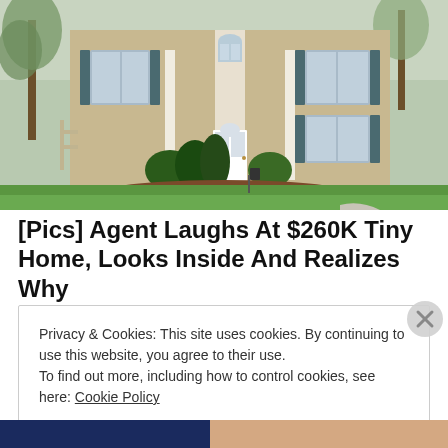[Figure (photo): Exterior photo of a two-story beige/tan colonial-style house with white columns, green shutters, arched window above front door, surrounded by evergreen shrubs, trees, and a green lawn.]
[Pics] Agent Laughs At $260K Tiny Home, Looks Inside And Realizes Why
BuzzFond
Privacy & Cookies: This site uses cookies. By continuing to use this website, you agree to their use.
To find out more, including how to control cookies, see here: Cookie Policy
Close and accept